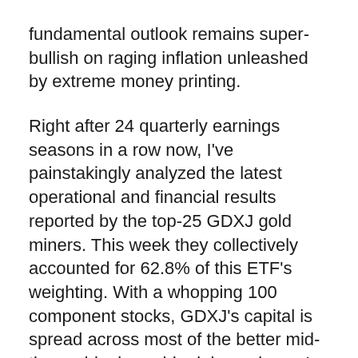fundamental outlook remains super-bullish on raging inflation unleashed by extreme money printing.
Right after 24 quarterly earnings seasons in a row now, I've painstakingly analyzed the latest operational and financial results reported by the top-25 GDXJ gold miners. This week they collectively accounted for 62.8% of this ETF's weighting. With a whopping 100 component stocks, GDXJ's capital is spread across most of the better mid-tier-and-junior-gold-mining universe! Its larger holdings show how mid-tiers are faring.
This table summarizes the operational and financial highlights from the GDXJ top-25